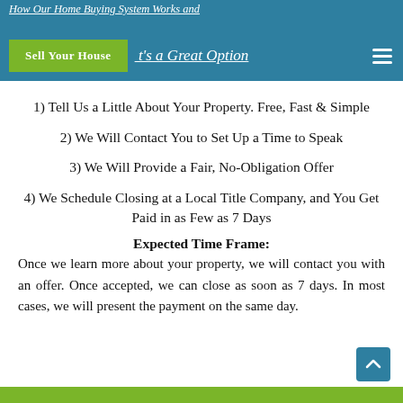How Our Home Buying System Works and Why It's a Great Option
1) Tell Us a Little About Your Property. Free, Fast & Simple
2) We Will Contact You to Set Up a Time to Speak
3) We Will Provide a Fair, No-Obligation Offer
4) We Schedule Closing at a Local Title Company, and You Get Paid in as Few as 7 Days
Expected Time Frame:
Once we learn more about your property, we will contact you with an offer. Once accepted, we can close as soon as 7 days. In most cases, we will present the payment on the same day.